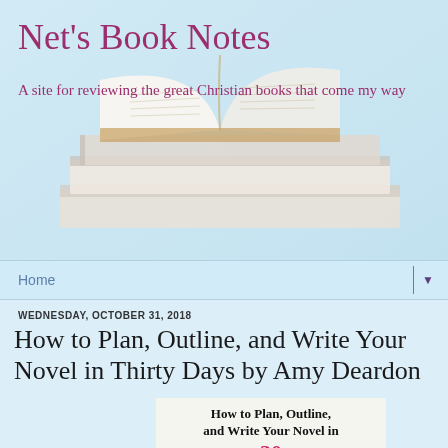Net's Book Notes
A site for reviewing the great Christian books that come my way
Home
WEDNESDAY, OCTOBER 31, 2018
How to Plan, Outline, and Write Your Novel in Thirty Days by Amy Deardon
[Figure (illustration): Book cover showing 'How to Plan, Outline, and Write Your Novel in 30 Days' with the number 30 in pink/magenta]
[Figure (photo): Stack of books with an open book on top, light blue background, used as site header image]